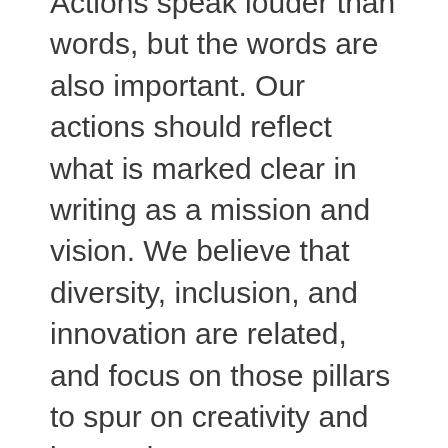Actions speak louder than words, but the words are also important. Our actions should reflect what is marked clear in writing as a mission and vision. We believe that diversity, inclusion, and innovation are related, and focus on those pillars to spur on creativity and innovation.
Diversity accelerates the creative process into a new gear. It allows for more perspectives, more questions, and more solutions. We should always be reminded that we are rarely (if ever) designing for ourselves, but rather for others. This process will naturally evolve. While we shape the culture around us, we must always reflect and be open to naming and addressing challenges as they bubble up. What's great is